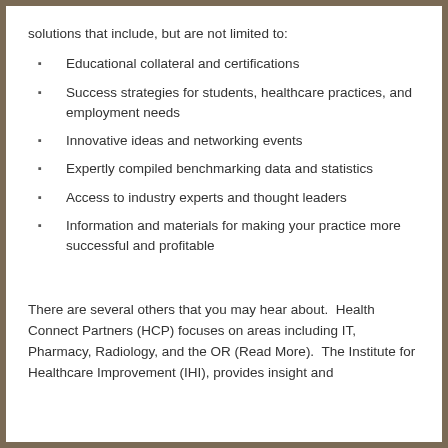solutions that include, but are not limited to:
Educational collateral and certifications
Success strategies for students, healthcare practices, and employment needs
Innovative ideas and networking events
Expertly compiled benchmarking data and statistics
Access to industry experts and thought leaders
Information and materials for making your practice more successful and profitable
There are several others that you may hear about.  Health Connect Partners (HCP) focuses on areas including IT, Pharmacy, Radiology, and the OR (Read More).  The Institute for Healthcare Improvement (IHI), provides insight and